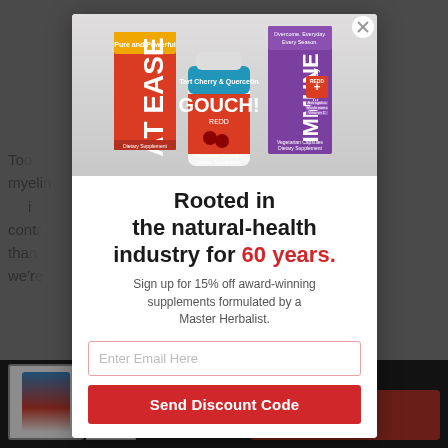[Figure (screenshot): Website popup modal overlay on a health supplement product page. The modal shows product boxes (AT EASE, GOUCH!, IMMUNE Everyday) at the top, followed by promotional text and an email signup form.]
Rooted in the natural-health industry for 60 years.
Sign up for 15% off award-winning supplements formulated by a Master Herbalist.
Enter Email Here
Send Discount Code